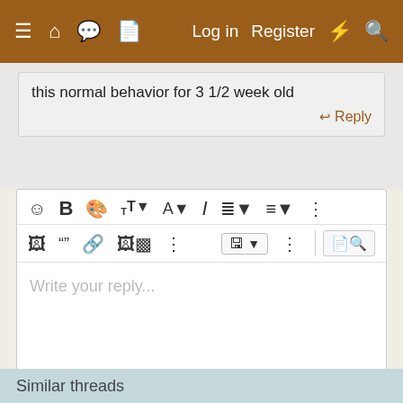≡  🏠  💬  📄    Log in   Register   ⚡   🔍
this normal behavior for 3 1/2 week old
↩ Reply
[Figure (screenshot): Text editor toolbar with formatting icons: emoji, bold, color, text size, font, italic, list, align, more options; second row: image, quote, link, media, more, save, more, preview]
Write your reply...
Post reply
Similar threads